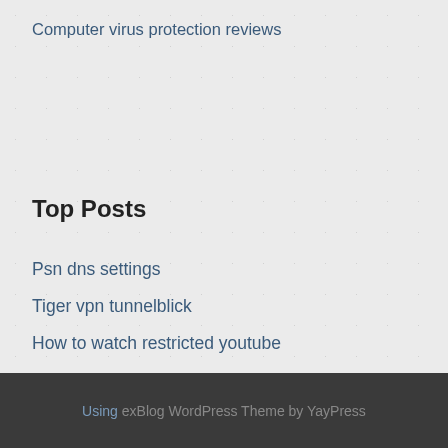Computer virus protection reviews
Top Posts
Psn dns settings
Tiger vpn tunnelblick
How to watch restricted youtube
Which countries censor the internet
Play location
Using exBlog WordPress Theme by YayPress